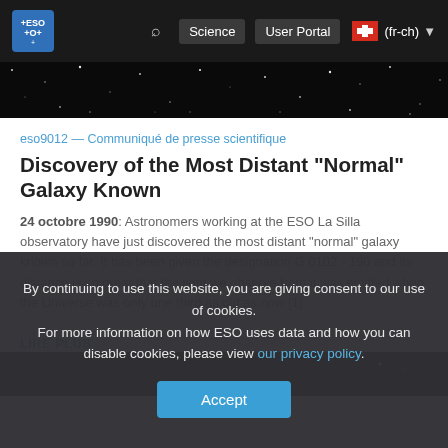ESO — Science   User Portal   (fr-ch)
[Figure (photo): Dark astronomical image strip showing stars against black sky]
eso9012 — Communiqué de presse scientifique
Discovery of the Most Distant "Normal" Galaxy Known
24 octobre 1990: Astronomers working at the ESO La Silla observatory have just discovered the most distant "normal" galaxy known so far. It has been given the designation G 0102 - 190 and its distance is so great that the light we observe from it was emitted when the Universe was only one third as old as now [1].
LIRE PLUS
[Figure (photo): Dark astronomical image strip at bottom of page]
By continuing to use this website, you are giving consent to our use of cookies.
For more information on how ESO uses data and how you can disable cookies, please view our privacy policy.
Accept